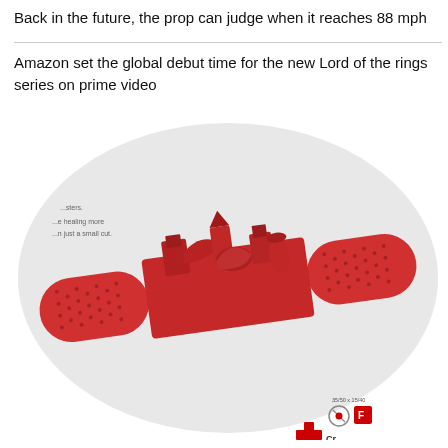Back in the future, the prop can judge when it reaches 88 mph
Amazon set the global debut time for the new Lord of the rings series on prime video
[Figure (photo): A red bandage/plaster with a 3D sculptural scene of miniature buildings and figures rising from its center pad, photographed on a light gray oval background. Bottom right shows small text '35/50 x 15/40', icons, and a red cross logo with partial text 'Cr'. Partial text overlaid on image reads: '...sters.' and '...e healing more' and '...n just a small cut.']